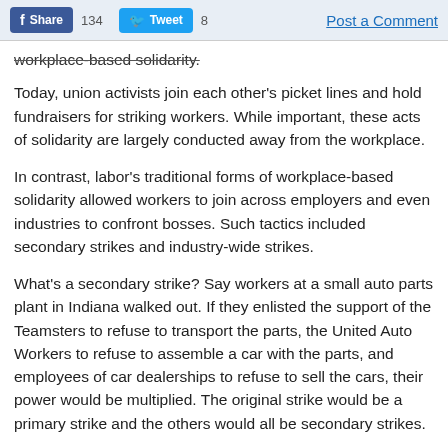Share 134  Tweet 8  Post a Comment
workplace-based solidarity.
Today, union activists join each other's picket lines and hold fundraisers for striking workers. While important, these acts of solidarity are largely conducted away from the workplace.
In contrast, labor's traditional forms of workplace-based solidarity allowed workers to join across employers and even industries to confront bosses. Such tactics included secondary strikes and industry-wide strikes.
What's a secondary strike? Say workers at a small auto parts plant in Indiana walked out. If they enlisted the support of the Teamsters to refuse to transport the parts, the United Auto Workers to refuse to assemble a car with the parts, and employees of car dealerships to refuse to sell the cars, their power would be multiplied. The original strike would be a primary strike and the others would all be secondary strikes.